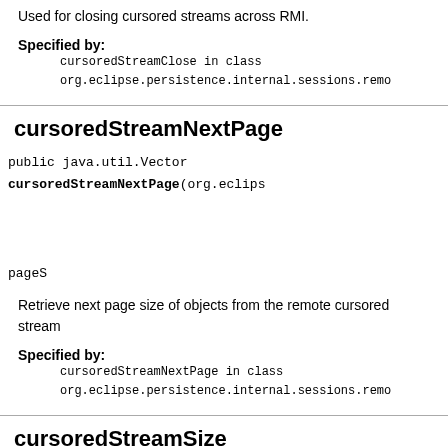Used for closing cursored streams across RMI.
Specified by:
cursoredStreamClose in class org.eclipse.persistence.internal.sessions.remo
cursoredStreamNextPage
public java.util.Vector cursoredStreamNextPage(org.eclips ReadQuery RemoteSess int pageS
Retrieve next page size of objects from the remote cursored stream
Specified by:
cursoredStreamNextPage in class org.eclipse.persistence.internal.sessions.remo
cursoredStreamSize
public int cursoredStreamSize(java.rmi.server.ObjID.remo